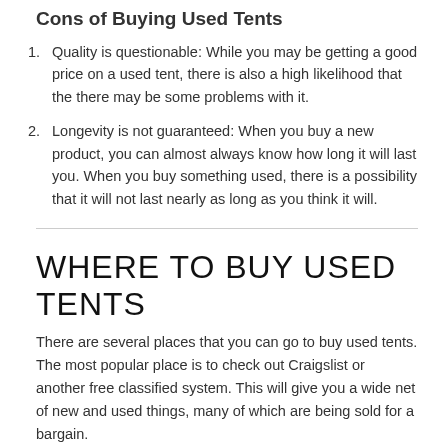Cons of Buying Used Tents
Quality is questionable: While you may be getting a good price on a used tent, there is also a high likelihood that the there may be some problems with it.
Longevity is not guaranteed: When you buy a new product, you can almost always know how long it will last you. When you buy something used, there is a possibility that it will not last nearly as long as you think it will.
WHERE TO BUY USED TENTS
There are several places that you can go to buy used tents. The most popular place is to check out Craigslist or another free classified system. This will give you a wide net of new and used things, many of which are being sold for a bargain.